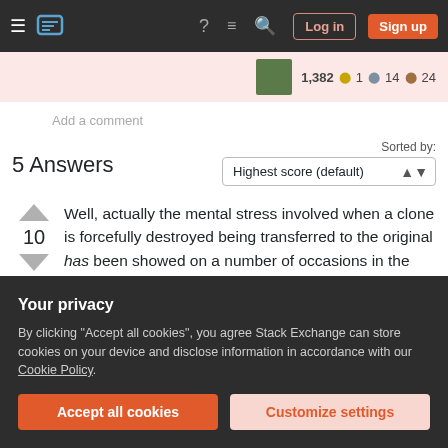Stack Exchange navigation bar with Log in and Sign up buttons
1,382 ●1 ●14 ●24
Add a comment
Sorted by:
5 Answers
Highest score (default)
Well, actually the mental stress involved when a clone is forcefully destroyed being transferred to the original has been showed on a number of occasions in the anime, including once before the timeskip.
Your privacy
By clicking "Accept all cookies", you agree Stack Exchange can store cookies on your device and disclose information in accordance with our Cookie Policy.
Accept all cookies
Customize settings